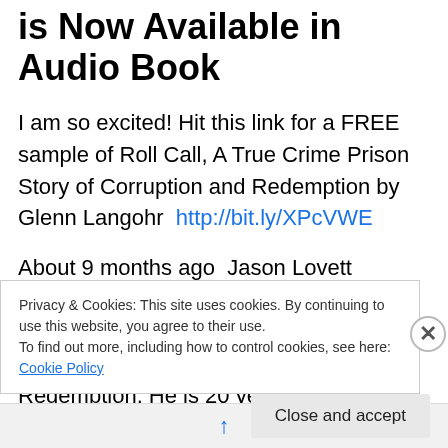is Now Available in Audio Book
I am so excited! Hit this link for a FREE sample of Roll Call, A True Crime Prison Story of Corruption and Redemption by Glenn Langohr  http://bit.ly/XPcVWE
About 9 months ago  Jason Lovett contacted me and told me how much he loved my first novel Roll Call, A True Crime Prison Story of Corruption and Redemption. He is 20 years old and asked me if he could narrate it. He did and is perfect for it as that is the age of the main character DJ who enters the drug war with abandon. Roll Call is one
Privacy & Cookies: This site uses cookies. By continuing to use this website, you agree to their use.
To find out more, including how to control cookies, see here: Cookie Policy
Close and accept